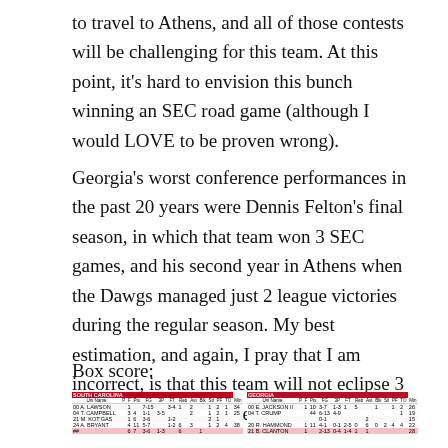to travel to Athens, and all of those contests will be challenging for this team. At this point, it's hard to envision this bunch winning an SEC road game (although I would LOVE to be proven wrong).
Georgia's worst conference performances in the past 20 years were Dennis Felton's final season, in which that team won 3 SEC games, and his second year in Athens when the Dawgs managed just 2 league victories during the regular season. My best estimation, and again, I pray that I am incorrect, is that this team will not eclipse 3 conference wins this year.
Box score:
[Figure (table-as-image): Box score table showing South Carolina and Georgia basketball statistics including player names, points, field goals, free throws, rebounds, assists, blocks, steals, personal fouls, turnovers, and minutes]